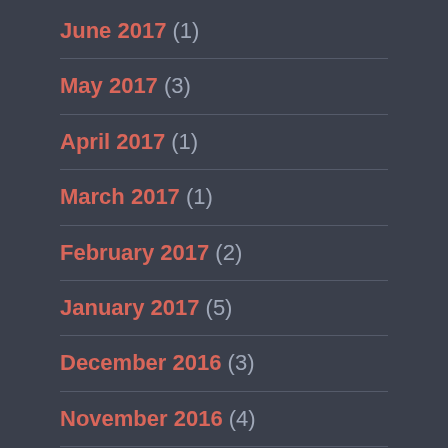June 2017 (1)
May 2017 (3)
April 2017 (1)
March 2017 (1)
February 2017 (2)
January 2017 (5)
December 2016 (3)
November 2016 (4)
October 2016 (3)
September 2016 (2)
August 2016 (2)